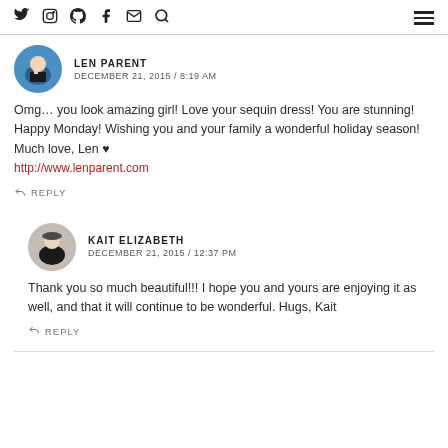Social icons and navigation
LEN PARENT
DECEMBER 21, 2015 / 8:19 AM
Omg… you look amazing girl! Love your sequin dress! You are stunning! Happy Monday! Wishing you and your family a wonderful holiday season! Much love, Len ♥
http://www.lenparent.com
REPLY
KAIT ELIZABETH
DECEMBER 21, 2015 / 12:37 PM
Thank you so much beautiful!!! I hope you and yours are enjoying it as well, and that it will continue to be wonderful. Hugs, Kait
REPLY